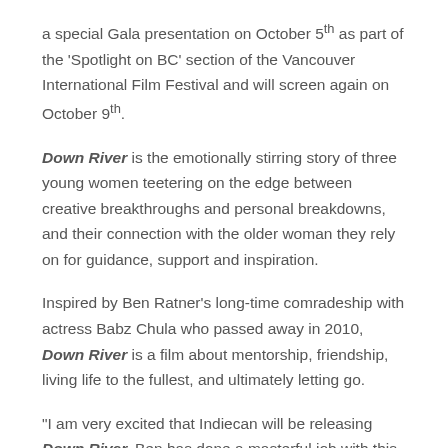a special Gala presentation on October 5th as part of the 'Spotlight on BC' section of the Vancouver International Film Festival and will screen again on October 9th.
Down River is the emotionally stirring story of three young women teetering on the edge between creative breakthroughs and personal breakdowns, and their connection with the older woman they rely on for guidance, support and inspiration.
Inspired by Ben Ratner's long-time comradeship with actress Babz Chula who passed away in 2010, Down River is a film about mentorship, friendship, living life to the fullest, and ultimately letting go.
“I am very excited that Indiecan will be releasing Down River. Ben has done a masterful job with this sweet,